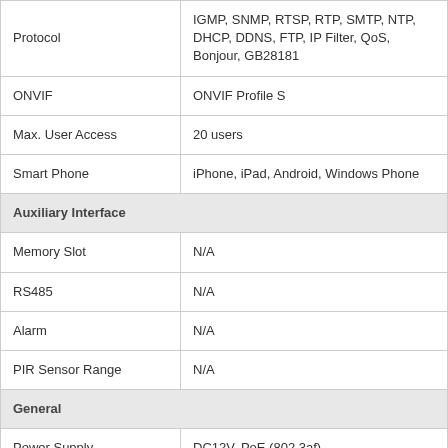| Feature | Value |
| --- | --- |
| Protocol | IGMP, SNMP, RTSP, RTP, SMTP, NTP, DHCP, DDNS, FTP, IP Filter, QoS, Bonjour, GB28181 |
| ONVIF | ONVIF Profile S |
| Max. User Access | 20 users |
| Smart Phone | iPhone, iPad, Android, Windows Phone |
| Auxiliary Interface |  |
| Memory Slot | N/A |
| RS485 | N/A |
| Alarm | N/A |
| PIR Sensor Range | N/A |
| General |  |
| Power Supply | DC12V, PoE (802.3af) |
| Power Consumption | <5W |